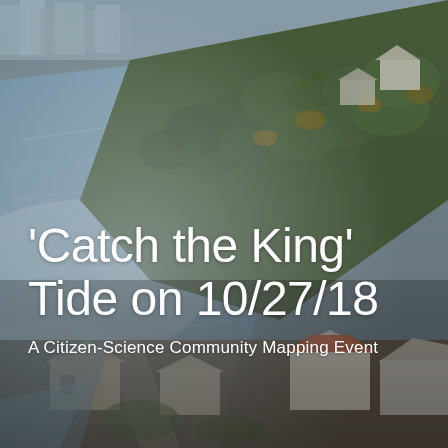[Figure (photo): Aerial photograph of a coastal neighborhood with flooding visible along the waterfront. The image shows residential houses, trees with autumn foliage, streets, and a flooded area to the left. The perspective is from above looking down at an angle.]
'Catch the King' Tide on 10/27/18
A Citizen-Science Community Mapping Event